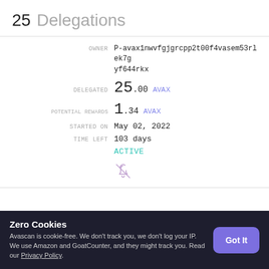25 Delegations
| Field | Value |
| --- | --- |
| OWNER | P-avax1nwvfgjgrcpp2t00f4vasem53rlek7gyf644rkx |
| DELEGATED | 25.00 AVAX |
| POTENTIAL REWARDS | 1.34 AVAX |
| STARTED ON | May 02, 2022 |
| TIME LEFT | 103 days |
| STATUS | ACTIVE |
Zero Cookies
Avascan is cookie-free. We don't track you, we don't log your IP. We use Amazon and GoatCounter, and they might track you. Read our Privacy Policy.